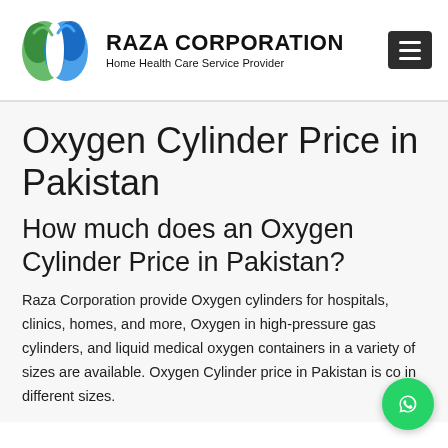[Figure (logo): Raza Corporation logo: two lung-shaped figures in green and blue, with company name and tagline]
Oxygen Cylinder Price in Pakistan
How much does an Oxygen Cylinder Price in Pakistan?
Raza Corporation provide Oxygen cylinders for hospitals, clinics, homes, and more, Oxygen in high-pressure gas cylinders, and liquid medical oxygen containers in a variety of sizes are available. Oxygen Cylinder price in Pakistan is co in different sizes.